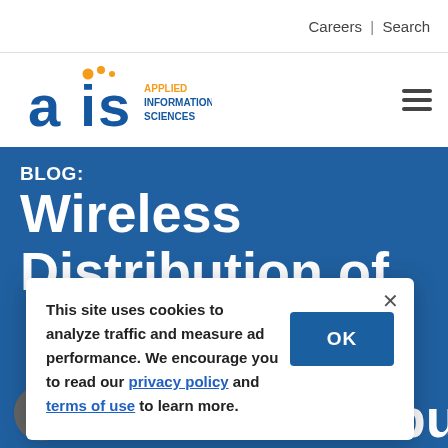Careers | Search
[Figure (logo): AIS Applied Information Sciences logo with orange dots and blue text]
BLOG:
Wireless Distribution of
This site uses cookies to analyze traffic and measure ad performance. We encourage you to read our privacy policy and terms of use to learn more.
Wireless Distribution of